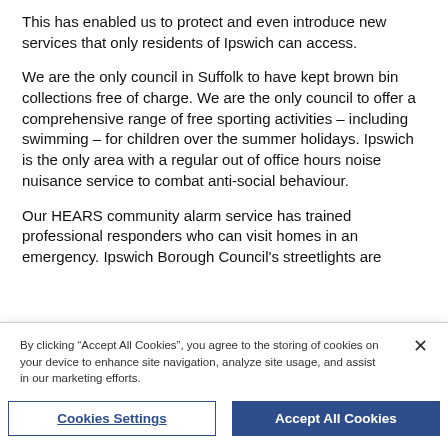This has enabled us to protect and even introduce new services that only residents of Ipswich can access.
We are the only council in Suffolk to have kept brown bin collections free of charge. We are the only council to offer a comprehensive range of free sporting activities – including swimming – for children over the summer holidays. Ipswich is the only area with a regular out of office hours noise nuisance service to combat anti-social behaviour.
Our HEARS community alarm service has trained professional responders who can visit homes in an emergency. Ipswich Borough Council's streetlights are
By clicking "Accept All Cookies", you agree to the storing of cookies on your device to enhance site navigation, analyze site usage, and assist in our marketing efforts.